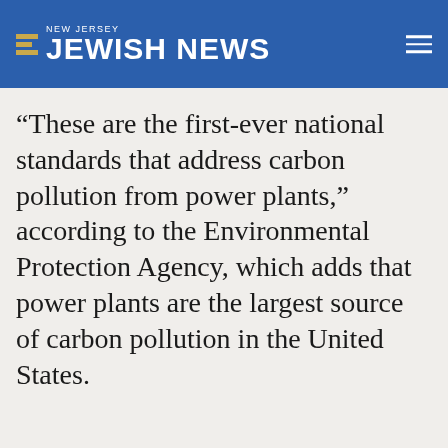NEW JERSEY JEWISH NEWS
“These are the first-ever national standards that address carbon pollution from power plants,” according to the Environmental Protection Agency, which adds that power plants are the largest source of carbon pollution in the United States.